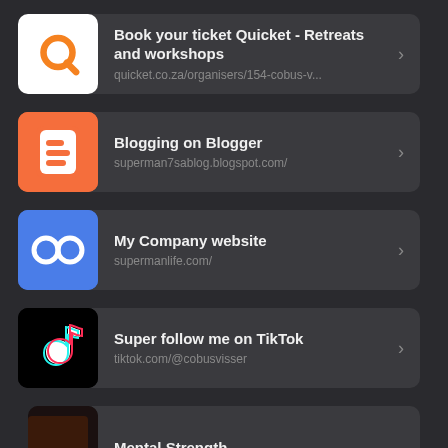Book your ticket Quicket - Retreats and workshops
quicket.co.za/organisers/154-cobus-v...
Blogging on Blogger
superman7sablog.blogspot.com/
My Company website
supermanlife.com/
Super follow me on TikTok
tiktok.com/@cobusvisser
Mental Strength...